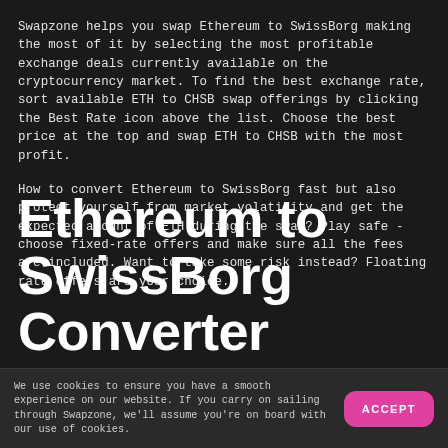Swapzone helps you swap Ethereum to SwissBorg making the most of it by selecting the most profitable exchange deals currently available on the cryptocurrency market. To find the best exchange rate, sort available ETH to CHSB swap offerings by clicking the Best Rate icon above the list. Choose the best price at the top and swap ETH to CHSB with the most profit.
How to convert Ethereum to SwissBorg fast but also protect yourself from market volatility and get the expected amount of ETH during the swap? Play safe - choose fixed-rate offers and make sure all the fees are included. Want to take some risk instead? Floating rate offers are your choice.
Ethereum to SwissBorg Converter
We use cookies to ensure you have a smooth experience on our website. If you carry on sailing through Swapzone, we'll assume you're on board with our use of cookies.